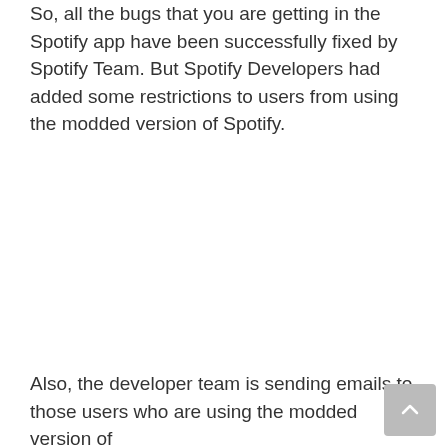So, all the bugs that you are getting in the Spotify app have been successfully fixed by Spotify Team. But Spotify Developers had added some restrictions to users from using the modded version of Spotify.
Also, the developer team is sending emails to those users who are using the modded version of